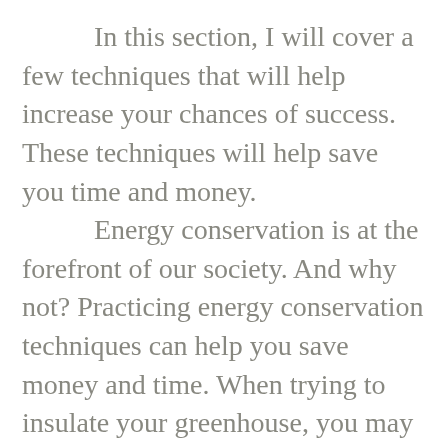In this section, I will cover a few techniques that will help increase your chances of success. These techniques will help save you time and money. Energy conservation is at the forefront of our society. And why not? Practicing energy conservation techniques can help you save money and time. When trying to insulate your greenhouse, you may want to consider double glazing and perimeter insulation. This can help